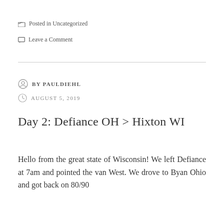Posted in Uncategorized
Leave a Comment
BY PAULDIEHL
AUGUST 5, 2019
Day 2: Defiance OH > Hixton WI
Hello from the great state of Wisconsin! We left Defiance at 7am and pointed the van West. We drove to Byan Ohio and got back on 80/90